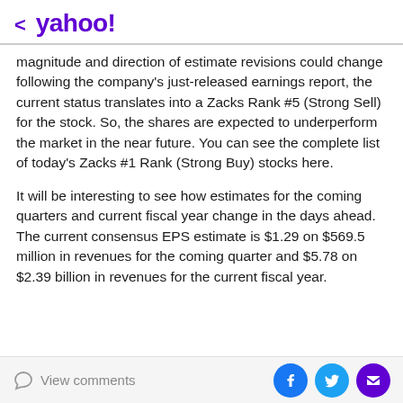< yahoo!
magnitude and direction of estimate revisions could change following the company's just-released earnings report, the current status translates into a Zacks Rank #5 (Strong Sell) for the stock. So, the shares are expected to underperform the market in the near future. You can see the complete list of today's Zacks #1 Rank (Strong Buy) stocks here.
It will be interesting to see how estimates for the coming quarters and current fiscal year change in the days ahead. The current consensus EPS estimate is $1.29 on $569.5 million in revenues for the coming quarter and $5.78 on $2.39 billion in revenues for the current fiscal year.
View comments